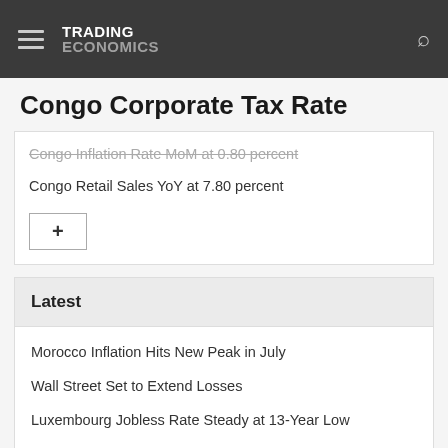TRADING ECONOMICS
Congo Corporate Tax Rate
Congo Inflation Rate MoM at 0.80 percent
Congo Retail Sales YoY at 7.80 percent
Latest
Morocco Inflation Hits New Peak in July
Wall Street Set to Extend Losses
Luxembourg Jobless Rate Steady at 13-Year Low
Hong Kong Inflation Hits 7-Month High
Oil Swings as Traders Weigh Demand, Iran Talks
US Natural Gas Hits 14-Year High
Indian Shares End at Over 2-Week Low